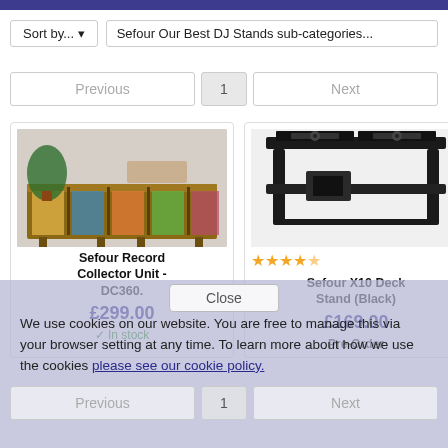Sort by...   Sefour Our Best DJ Stands sub-categories...
Previous  1  Next
[Figure (photo): Sefour Record Collector Unit DC360 - wooden record storage unit with vinyl records and a plant]
[Figure (photo): Sefour X10 Deck Stand (Black) - black DJ equipment stand with 4.5 star rating]
Sefour Record Collector Unit - DC360.
£299.00
✓ In stock
Sefour X10 Deck Stand (Black)
£169.00
Pre-Order
We use cookies on our website. You are free to manage this via your browser setting at any time. To learn more about how we use the cookies please see our cookie policy.
Close
Previous  1  Next